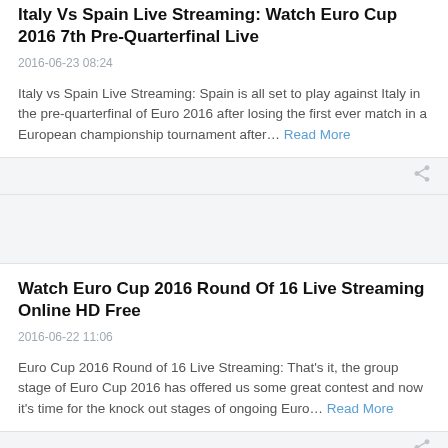Italy Vs Spain Live Streaming: Watch Euro Cup 2016 7th Pre-Quarterfinal Live
2016-06-23 08:24
Italy vs Spain Live Streaming: Spain is all set to play against Italy in the pre-quarterfinal of Euro 2016 after losing the first ever match in a European championship tournament after… Read More
Watch Euro Cup 2016 Round Of 16 Live Streaming Online HD Free
2016-06-22 11:06
Euro Cup 2016 Round of 16 Live Streaming: That's it, the group stage of Euro Cup 2016 has offered us some great contest and now it's time for the knock out stages of ongoing Euro… Read More
Ukraine Vs Poland Live Streaming: Watch Euro Cup 2016 Match 30 Live (Updated)